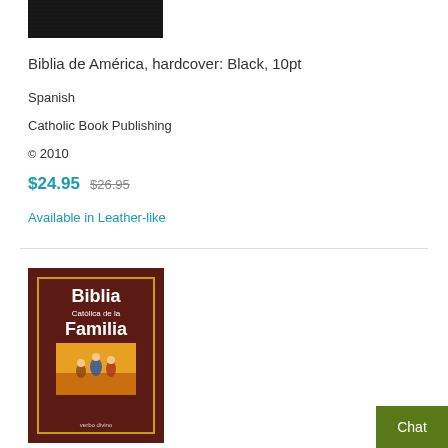[Figure (photo): Top portion of a black hardcover Bible, dark textured leather surface]
Biblia de América, hardcover: Black, 10pt
Spanish
Catholic Book Publishing
© 2010
$24.95  $26.95
Available in Leather-like
[Figure (photo): Book cover of Biblia Católica de la Familia, dark red/maroon cover with gold border, white title text, illustration of biblical scene]
Chat